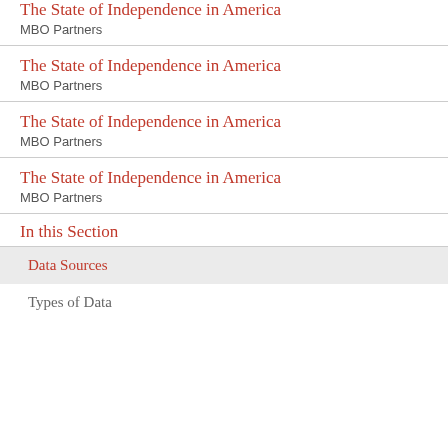The State of Independence in America
MBO Partners
The State of Independence in America
MBO Partners
The State of Independence in America
MBO Partners
The State of Independence in America
MBO Partners
In this Section
Data Sources
Types of Data